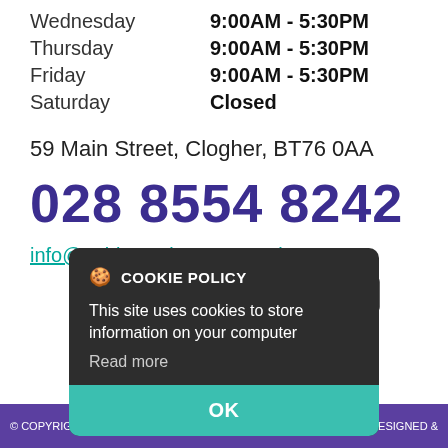Wednesday   9:00AM - 5:30PM
Thursday    9:00AM - 5:30PM
Friday      9:00AM - 5:30PM
Saturday    Closed
59 Main Street, Clogher, BT76 0AA
028 8554 8242
info@nobleauctioneers.co.uk
[Figure (screenshot): Cookie policy modal overlay with dark background showing cookie icon, 'COOKIE POLICY' heading, body text 'This site uses cookies to store information on your computer', 'Read more' link, and a teal 'OK' button. An arla propertymark PROTECTED badge is partially visible behind the modal.]
© COPYRIGHT | DESIGNED & POWERED BY